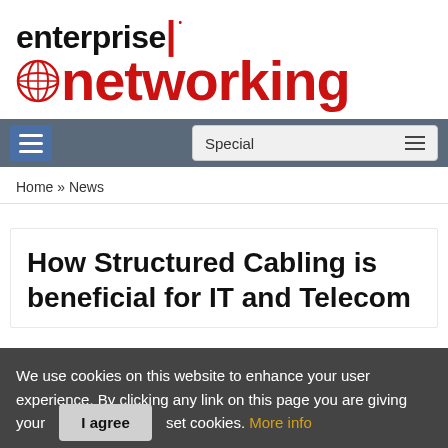[Figure (logo): Enterprise Networking magazine logo with red 'networking' text and globe icon]
[Figure (screenshot): Navigation bar with hamburger menu icon on left and 'Special' dropdown on right, on gray background]
Home » News
How Structured Cabling is beneficial for IT and Telecom
We use cookies on this website to enhance your user experience. By clicking any link on this page you are giving your consent to set cookies. More info